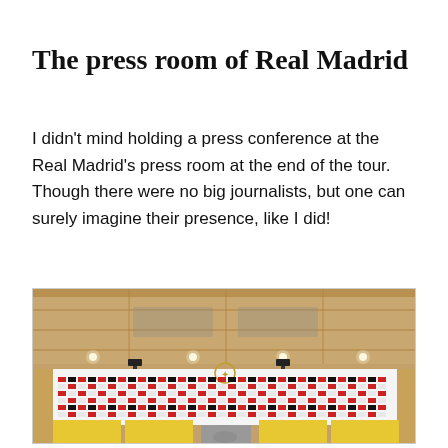The press room of Real Madrid
I didn't mind holding a press conference at the Real Madrid's press room at the end of the tour. Though there were no big journalists, but one can surely imagine their presence, like I did!
[Figure (photo): Interior of the Real Madrid press room showing the sponsor backdrop wall with repeated Real Madrid and Adidas logos, ceiling with recessed lighting panels, yellow presentation table panels, and a podium with Real Madrid crest.]